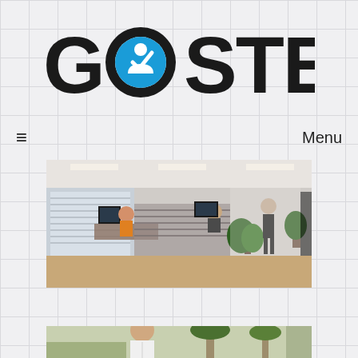[Figure (logo): GOSTEG logo in large bold black text with a blue circular icon containing a checkmark and person silhouette replacing the letter O]
≡  Menu
[Figure (photo): Office interior with people working at desks, a woman walking in the background, plants, wooden floors, and large windows with blinds]
[Figure (photo): Outdoor scene with a bald man in a white shirt, palm trees visible in the background]